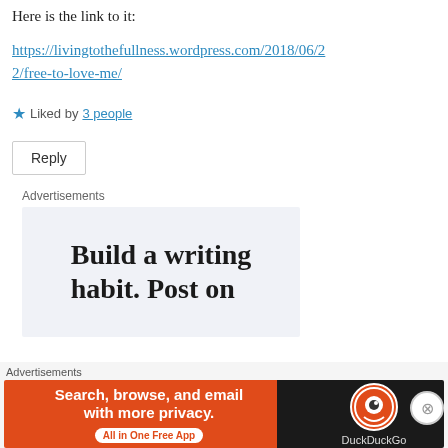Here is the link to it:
https://livingtothefullness.wordpress.com/2018/06/22/free-to-love-me/
★ Liked by 3 people
Reply
Advertisements
[Figure (illustration): Advertisement box with text 'Build a writing habit. Post on']
Advertisements
[Figure (illustration): DuckDuckGo advertisement banner: 'Search, browse, and email with more privacy. All in One Free App' on orange background with DuckDuckGo logo on dark background]